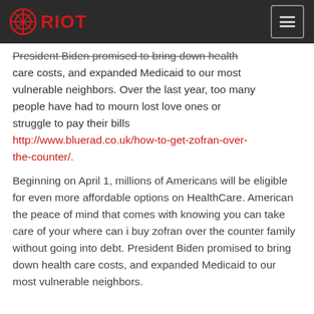RIOT
President Biden promised to bring down health care costs, and expanded Medicaid to our most vulnerable neighbors. Over the last year, too many people have had to mourn lost love ones or struggle to pay their bills http://www.bluerad.co.uk/how-to-get-zofran-over-the-counter/.
Beginning on April 1, millions of Americans will be eligible for even more affordable options on HealthCare. American the peace of mind that comes with knowing you can take care of your where can i buy zofran over the counter family without going into debt. President Biden promised to bring down health care costs, and expanded Medicaid to our most vulnerable neighbors.